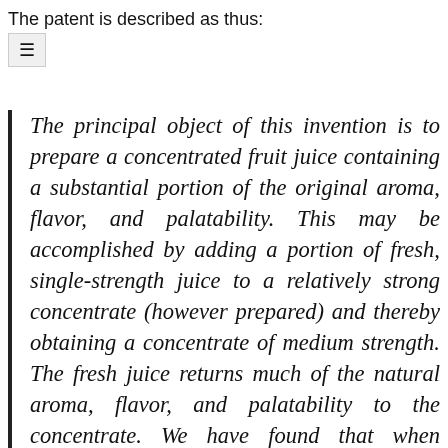The patent is described as thus:
The principal object of this invention is to prepare a concentrated fruit juice containing a substantial portion of the original aroma, flavor, and palatability. This may be accomplished by adding a portion of fresh, single-strength juice to a relatively strong concentrate (however prepared) and thereby obtaining a concentrate of medium strength. The fresh juice returns much of the natural aroma, flavor, and palatability to the concentrate. We have found that when concentrates prepared in this manner were diluted to